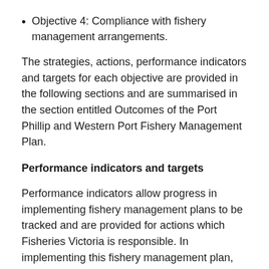Objective 4: Compliance with fishery management arrangements.
The strategies, actions, performance indicators and targets for each objective are provided in the following sections and are summarised in the section entitled Outcomes of the Port Phillip and Western Port Fishery Management Plan.
Performance indicators and targets
Performance indicators allow progress in implementing fishery management plans to be tracked and are provided for actions which Fisheries Victoria is responsible. In implementing this fishery management plan, performance indicators may be refined using